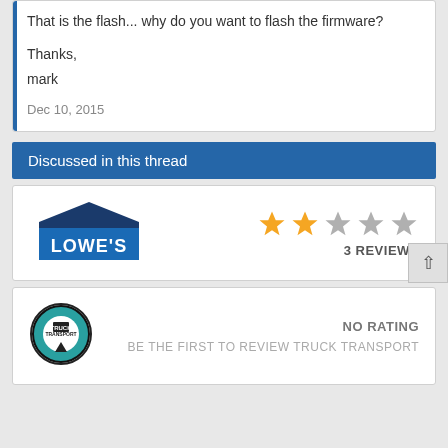That is the flash... why do you want to flash the firmware?

Thanks,
mark
Dec 10, 2015
Discussed in this thread
[Figure (logo): Lowe's logo - blue background with white text]
3 REVIEWS
[Figure (logo): Truck Transport circular logo]
NO RATING
BE THE FIRST TO REVIEW TRUCK TRANSPORT